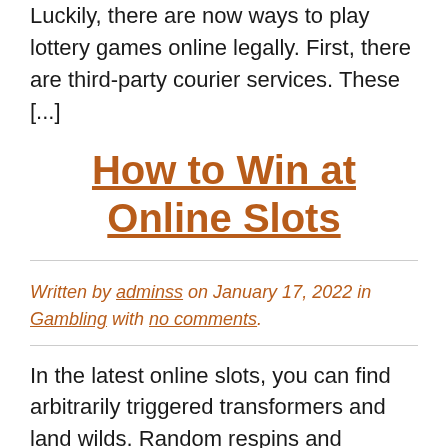Luckily, there are now ways to play lottery games online legally. First, there are third-party courier services. These [...]
How to Win at Online Slots
Written by adminss on January 17, 2022 in Gambling with no comments.
In the latest online slots, you can find arbitrarily triggered transformers and land wilds. Random respins and